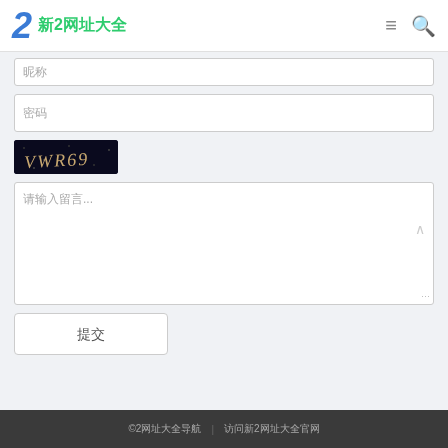新2网址大全
昵称
密码
[Figure (other): CAPTCHA image with text VWR69 on dark background]
请输入留言...
提交
©2网址大全导航   访问新2网址大全官网